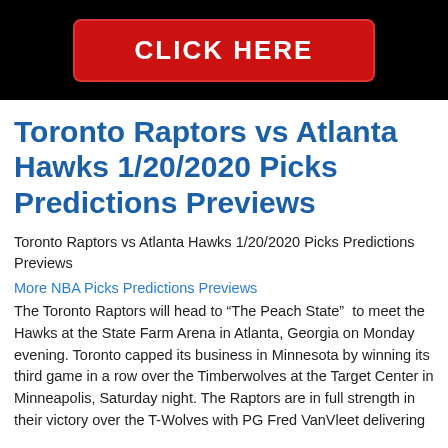[Figure (other): Black banner with a red button containing white text 'CLICK HERE']
Toronto Raptors vs Atlanta Hawks 1/20/2020 Picks Predictions Previews
Toronto Raptors vs Atlanta Hawks 1/20/2020 Picks Predictions Previews
More NBA Picks Predictions Previews
The Toronto Raptors will head to “The Peach State”  to meet the Hawks at the State Farm Arena in Atlanta, Georgia on Monday evening. Toronto capped its business in Minnesota by winning its third game in a row over the Timberwolves at the Target Center in Minneapolis, Saturday night. The Raptors are in full strength in their victory over the T-Wolves with PG Fred VanVleet delivering